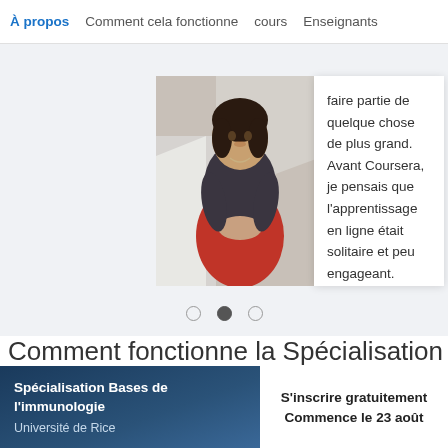À propos   Comment cela fonctionne   cours   Enseignants
[Figure (photo): Photo of a young woman sitting on stairs, wearing a dark t-shirt and red pants, hands folded]
faire partie de quelque chose de plus grand. Avant Coursera, je pensais que l'apprentissage en ligne était solitaire et peu engageant.
Comment fonctionne la Spécialisation
Spécialisation Bases de l'immunologie
Université de Rice
S'inscrire gratuitement
Commence le 23 août